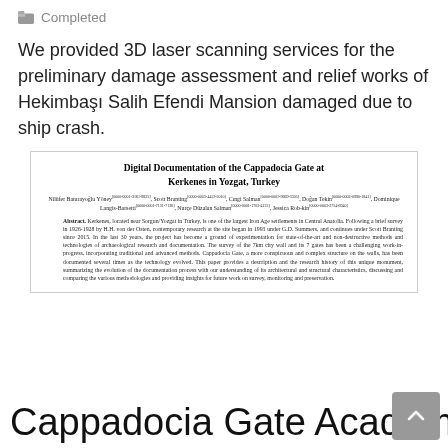Completed
We provided 3D laser scanning services for the preliminary damage assessment and relief works of Hekimbaşı Salih Efendi Mansion damaged due to ship crash.
[Figure (screenshot): Embedded academic paper card showing: Title 'Digital Documentation of the Cappadocia Gate at Kerkenes in Yozgat, Turkey', authors Nilüfer Baturayoğlu Yöney, Scott Branting, Cıngi Salman, Doğan Tekin, Dominique Langis-Barsetti, Nurçe Düzalan Salman, Jessica Robkin, and abstract text about Kerkenes Iron Age settlement documentation.]
Cappadocia Gate Academic